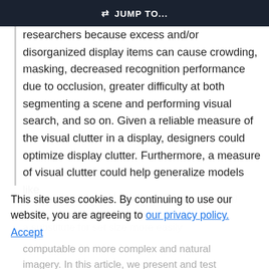JUMP TO...
researchers because excess and/or disorganized display items can cause crowding, masking, decreased recognition performance due to occlusion, greater difficulty at both segmenting a scene and performing visual search, and so on. Given a reliable measure of the visual clutter in a display, designers could optimize display clutter. Furthermore, a measure of visual clutter could help generalize models like Guided Search (J. M. Wolfe, 1994) by providing
a substitute for set size more easily computable on more complex and natural imagery. In this article, we present and test
This site uses cookies. By continuing to use our website, you are agreeing to our privacy policy. Accept